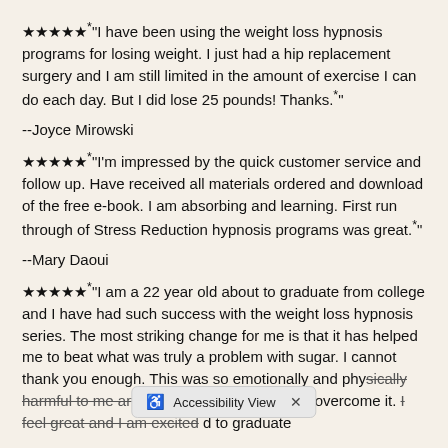★★★★★*"I have been using the weight loss hypnosis programs for losing weight. I just had a hip replacement surgery and I am still limited in the amount of exercise I can do each day. But I did lose 25 pounds! Thanks.*"
--Joyce Mirowski
★★★★★*"I'm impressed by the quick customer service and follow up. Have received all materials ordered and download of the free e-book. I am absorbing and learning. First run through of Stress Reduction hypnosis programs was great.*"
--Mary Daoui
★★★★★*"I am a 22 year old about to graduate from college and I have had such success with the weight loss hypnosis series. The most striking change for me is that it has helped me to beat what was truly a problem with sugar. I cannot thank you enough. This was so emotionally and physically harmful to me and now I feel empowered to overcome it. I feel great and I am excited to graduate